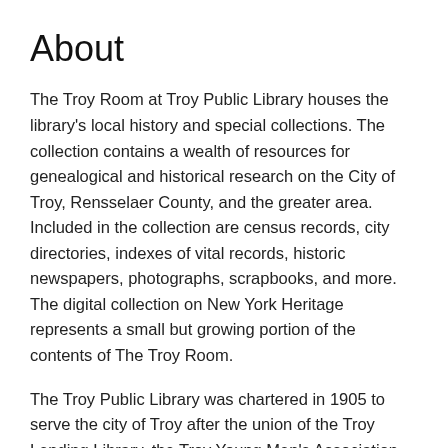About
The Troy Room at Troy Public Library houses the library's local history and special collections. The collection contains a wealth of resources for genealogical and historical research on the City of Troy, Rensselaer County, and the greater area. Included in the collection are census records, city directories, indexes of vital records, historic newspapers, photographs, scrapbooks, and more. The digital collection on New York Heritage represents a small but growing portion of the contents of The Troy Room.
The Troy Public Library was chartered in 1905 to serve the city of Troy after the union of the Troy Lending Library, the Troy Young Men's Association, and the Free Reading Room of Troy. Since 1897, the library's home has been The Hart Memorial Building on Second Street in historic downtown Troy. The building is an early example